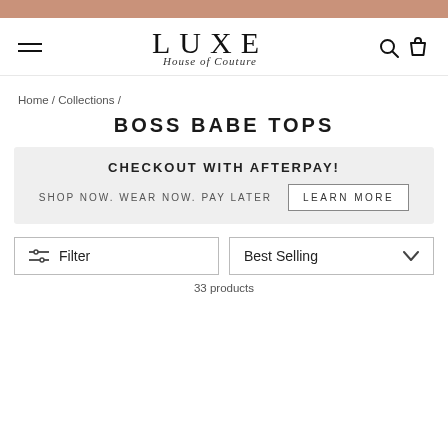[Figure (logo): LUXE House of Couture logo with hamburger menu and search/cart icons]
Home / Collections /
BOSS BABE TOPS
CHECKOUT WITH AFTERPAY! SHOP NOW. WEAR NOW. PAY LATER LEARN MORE
Filter  Best Selling
33 products